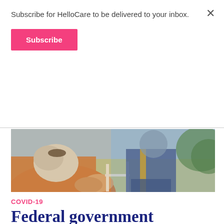Subscribe for HelloCare to be delivered to your inbox.
Subscribe
×
[Figure (photo): Elderly woman with white hair seen from behind, wearing a brown coat, sitting outdoors on a white chair. Another person in a dark blue tracksuit with yellow stripe sits in the background. Outdoor garden setting.]
COVID-19
Federal government